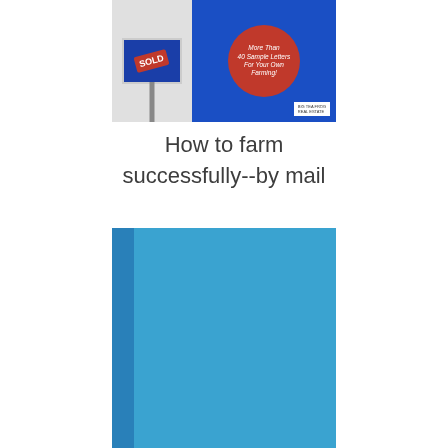[Figure (photo): Book cover showing a real estate SOLD sign on the left side with a white/grey background, and a blue panel on the right featuring a red circle with italic text about sample letters for farming. A small logo box appears in the bottom right corner of the blue panel.]
How to farm successfully--by mail
[Figure (photo): Bottom portion of a blue book with a darker blue spine on the left side and a lighter blue cover on the right, shown at the bottom of the page.]